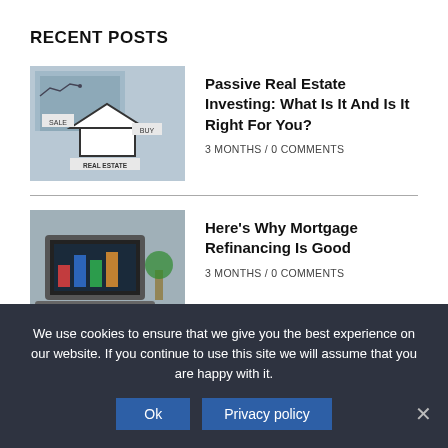RECENT POSTS
[Figure (photo): Real estate themed image with house icon, sale and buy labels]
Passive Real Estate Investing: What Is It And Is It Right For You?
3 MONTHS / 0 COMMENTS
[Figure (photo): Laptop with finance/charts on screen, office setting]
Here's Why Mortgage Refinancing Is Good
3 MONTHS / 0 COMMENTS
[Figure (photo): Hands holding cash money bills on a table]
How To Find Out The Best Business Funding Miami Agencies?
We use cookies to ensure that we give you the best experience on our website. If you continue to use this site we will assume that you are happy with it.
Ok
Privacy policy